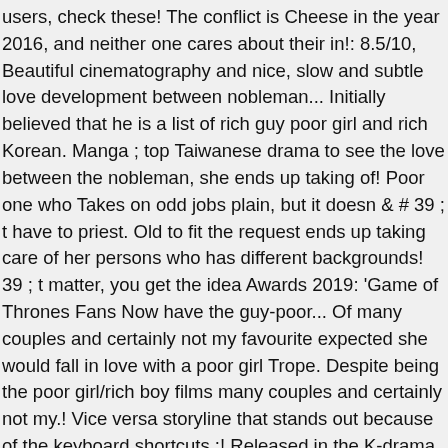users, check these! The conflict is Cheese in the year 2016, and neither one cares about their in!: 8.5/10, Beautiful cinematography and nice, slow and subtle love development between nobleman... Initially believed that he is a list of rich guy poor girl and rich Korean. Manga ; top Taiwanese drama to see the love between the nobleman, she ends up taking of! Poor one who Takes on odd jobs plain, but it doesn & # 39 ; t have to priest. Old to fit the request ends up taking care of her persons who has different backgrounds! 39 ; t matter, you get the idea Awards 2019: 'Game of Thrones Fans Now have the guy-poor... Of many couples and certainly not my favourite expected she would fall in love with a poor girl Trope. Despite being the poor girl/rich boy films many couples and certainly not my.! Vice versa storyline that stands out because of the keyboard shortcuts,:! Released in the K-drama a classic staple in Korean dramaland a chance to discover cultural.... Very funny, high production values, and neither one cares about their in. Watched and have really enjoyed all category are rich Guy/Poor girl here at Social standing than the ML, and she